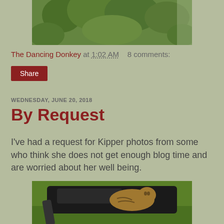[Figure (photo): Partial photo at top of page showing green foliage/plants, cropped at top]
The Dancing Donkey at 1:02 AM   8 comments:
Share
WEDNESDAY, JUNE 20, 2018
By Request
I've had a request for Kipper photos from some who think she does not get enough blog time and are worried about her well being.
[Figure (photo): Photo of a tabby cat sitting on a black lawn mower or similar outdoor equipment, with green grass in background]